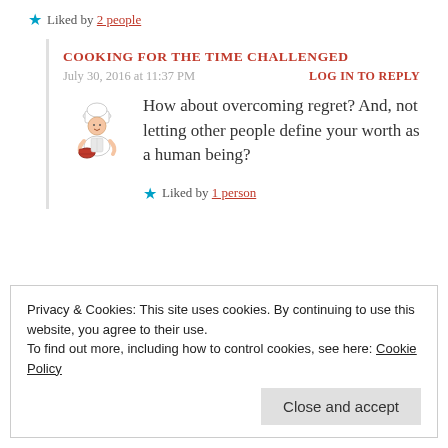Liked by 2 people
COOKING FOR THE TIME CHALLENGED
July 30, 2016 at 11:37 PM
LOG IN TO REPLY
[Figure (illustration): Cartoon chef illustration holding a bowl]
How about overcoming regret? And, not letting other people define your worth as a human being?
Liked by 1 person
Privacy & Cookies: This site uses cookies. By continuing to use this website, you agree to their use.
To find out more, including how to control cookies, see here: Cookie Policy
Close and accept